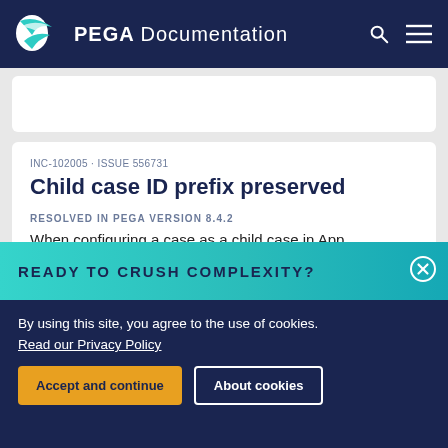PEGA Documentation
INC-102005 · ISSUE 556731
Child case ID prefix preserved
RESOLVED IN PEGA VERSION 8.4.2
When configuring a case as a child case in App
READY TO CRUSH COMPLEXITY?
By using this site, you agree to the use of cookies.
Read our Privacy Policy
Accept and continue
About cookies